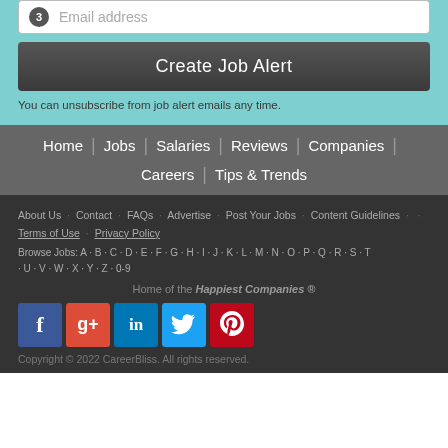3  Email address
Create Job Alert
You can unsubscribe from job alert emails any time.
Home | Jobs | Salaries | Reviews | Companies | Careers | Tips & Trends
About Us · Contact · FAQs · Advertise · Post Your Jobs · Content Guidelines · Terms of Use · Privacy Policy
Browse Jobs: A · B · C · D · E · F · G · H · I · J · K · L · M · N · O · P · Q · R · S · T · U · V · W · X · Y · Z · 0-9
Home of the Happiest Companies ®
[Figure (infographic): Social media icons: Facebook, Google+, LinkedIn, Twitter, Pinterest]
Copyright © 2022 CareerBliss. All rights reserved.